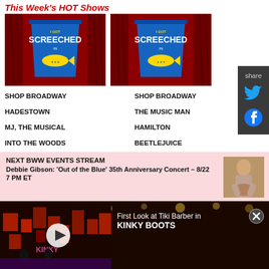This Week's HOT Shows
[Figure (photo): Blue 'I Got Screeched In' cup on red curtain background - left]
[Figure (photo): Blue 'I Got Screeched In' cup on red curtain background - right]
SHOP BROADWAY
SHOP BROADWAY
HADESTOWN
THE MUSIC MAN
MJ, THE MUSICAL
HAMILTON
INTO THE WOODS
BEETLEJUICE
NEXT BWW EVENTS STREAM
Debbie Gibson: 'Out of the Blue' 35th Anniversary Concert – 8/22
7 PM ET
[Figure (photo): Debbie Gibson promotional photo]
[Figure (screenshot): Video thumbnail: First Look at Tiki Barber in KINKY BOOTS stage performance]
First Look at Tiki Barber in KINKY BOOTS